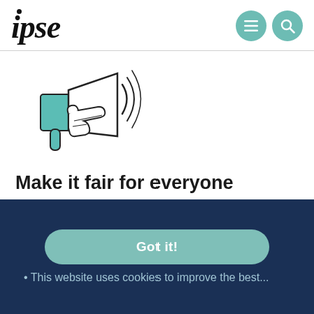ipse
[Figure (illustration): A teal and outline megaphone/loudspeaker illustration with a hand holding it and sound lines, line-art style]
Make it fair for everyone
Your membership helps to fund our lobbying
(partially visible faded text below bullet)
Got it!
This website uses cookies to improve the best...